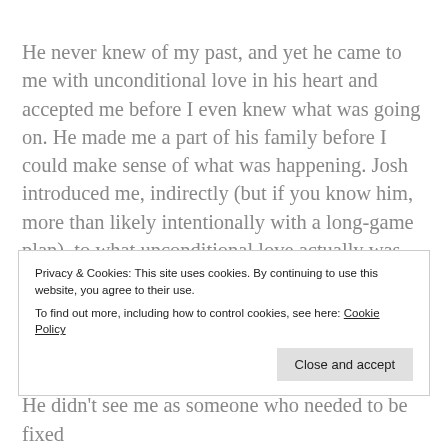He never knew of my past, and yet he came to me with unconditional love in his heart and accepted me before I even knew what was going on. He made me a part of his family before I could make sense of what was happening. Josh introduced me, indirectly (but if you know him, more than likely intentionally with a long-game plan), to what unconditional love actually was. Before I met Josh and Stacy, I didn't know. My heart was filled with pain, anger, bitterness and sadness. And it's, mostly (about 95%), free from all of
Privacy & Cookies: This site uses cookies. By continuing to use this website, you agree to their use. To find out more, including how to control cookies, see here: Cookie Policy
Close and accept
He didn't see me as someone who needed to be fixed